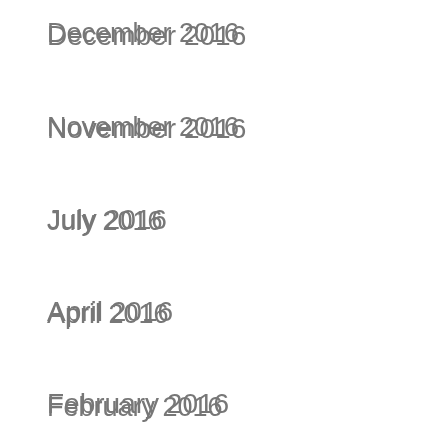December 2016
November 2016
July 2016
April 2016
February 2016
December 2015
July 2014
June 2014
March 2014
February 2014
December 2013